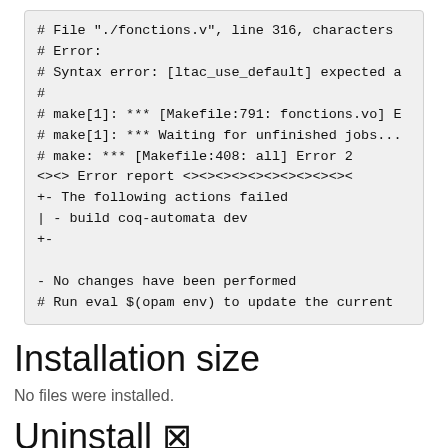# File "./fonctions.v", line 316, characters
# Error:
# Syntax error: [ltac_use_default] expected a
#
# make[1]: *** [Makefile:791: fonctions.vo] E
# make[1]: *** Waiting for unfinished jobs...
# make: *** [Makefile:408: all] Error 2
<><> Error report <><><><><><><><><><><><
+- The following actions failed
| - build coq-automata dev
+-

- No changes have been performed
# Run eval $(opam env) to update the current
Installation size
No files were installed.
Uninstall ⊠